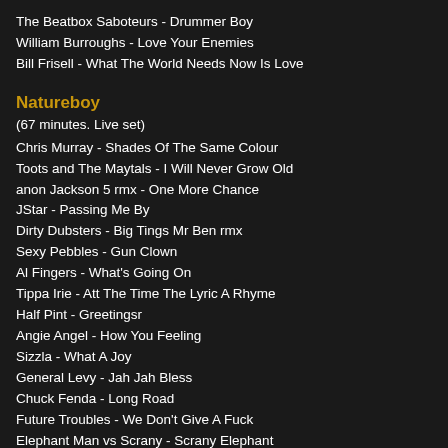The Beatbox Saboteurs - Drummer Boy
William Burroughs - Love Your Enemies
Bill Frisell - What The World Needs Now Is Love
Natureboy
(67 minutes. Live set)
Chris Murray - Shades Of The Same Colour
Toots and The Maytals - I Will Never Grow Old
anon Jackson 5 rmx - One More Chance
JStar - Passing Me By
Dirty Dubsters - Big Tings Mr Ben rmx
Sexy Pebbles - Gun Clown
Al Fingers - What's Going On
Tippa Irie - Att The Time The Lyric A Rhyme
Half Pint - Greetingsr
Angie Angel - How You Feeling
Sizzla - What A Joy
General Levy - Jah Jah Bless
Chuck Fenda - Long Road
Future Troubles - We Don't Give A Fuck
Elephant Man vs Scrany - Scrany Elephant